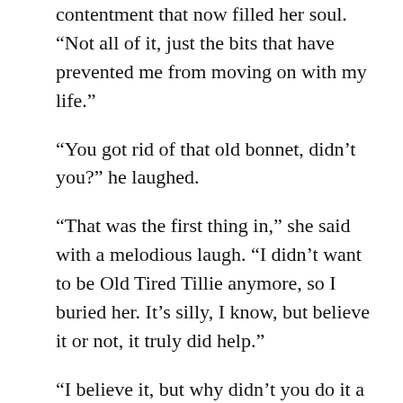contentment that now filled her soul. “Not all of it, just the bits that have prevented me from moving on with my life.”
“You got rid of that old bonnet, didn’t you?” he laughed.
“That was the first thing in,” she said with a melodious laugh. “I didn’t want to be Old Tired Tillie anymore, so I buried her. It’s silly, I know, but believe it or not, it truly did help.”
“I believe it, but why didn’t you do it a long time ago?”
“I was too busy feeling sorry for myself, I suppose,” she reflected. “I know this sounds cruel, but for me, your illness was a blessing. It made me see things clearly for